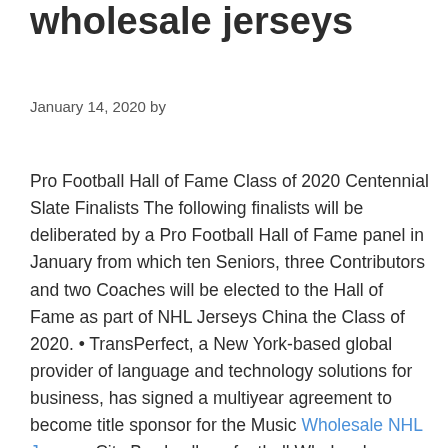wholesale jerseys
January 14, 2020 by
Pro Football Hall of Fame Class of 2020 Centennial Slate Finalists The following finalists will be deliberated by a Pro Football Hall of Fame panel in January from which ten Seniors, three Contributors and two Coaches will be elected to the Hall of Fame as part of NHL Jerseys China the Class of 2020. • TransPerfect, a New York-based global provider of language and technology solutions for business, has signed a multiyear agreement to become title sponsor for the Music Wholesale NHL Jerseys City Bowl college football Wholesale Jerseys NFL